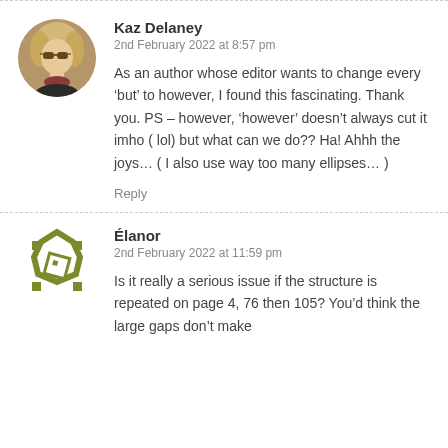Kaz Delaney
2nd February 2022 at 8:57 pm
As an author whose editor wants to change every ‘but’ to however, I found this fascinating. Thank you. PS – however, ‘however’ doesn’t always cut it imho ( lol) but what can we do?? Ha! Ahhh the joys… ( I also use way too many ellipses… )
Reply
Élanor
2nd February 2022 at 11:59 pm
Is it really a serious issue if the structure is repeated on page 4, 76 then 105? You’d think the large gaps don’t make